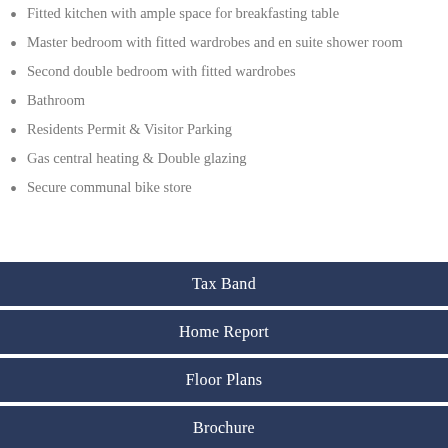Fitted kitchen with ample space for breakfasting table
Master bedroom with fitted wardrobes and en suite shower room
Second double bedroom with fitted wardrobes
Bathroom
Residents Permit & Visitor Parking
Gas central heating & Double glazing
Secure communal bike store
Tax Band
Home Report
Floor Plans
Brochure